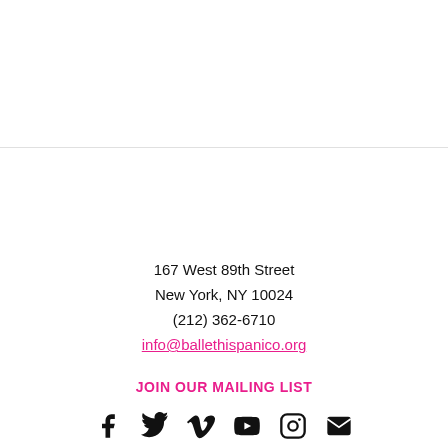167 West 89th Street
New York, NY 10024
(212) 362-6710
info@ballethispanico.org
JOIN OUR MAILING LIST
[Figure (infographic): Social media icons: Facebook, Twitter, Vimeo, YouTube, Instagram, Email]